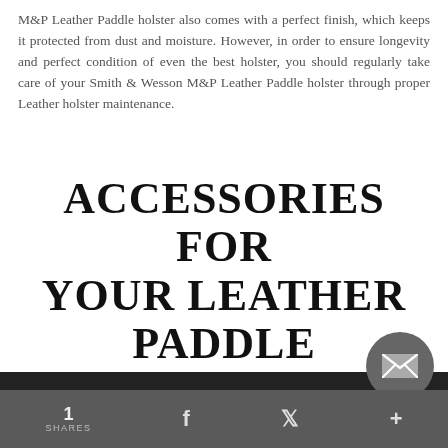M&P Leather Paddle holster also comes with a perfect finish, which keeps it protected from dust and moisture. However, in order to ensure longevity and perfect condition of even the best holster, you should regularly take care of your Smith & Wesson M&P Leather Paddle holster through proper Leather holster maintenance.
ACCESSORIES FOR YOUR LEATHER PADDLE SMITH & WESSON M&P HOLSTER
1 SHARES  f  Twitter  +